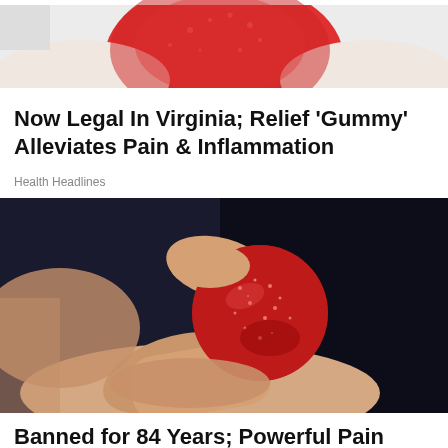[Figure (photo): Close-up photo of a red sugary gummy candy held between fingers against a white background, partially cropped at top of page]
Now Legal In Virginia; Relief 'Gummy' Alleviates Pain & Inflammation
Health Headlines
[Figure (photo): Close-up photo of a red sugary gummy candy being held between thumb and forefinger against a dark/black background]
Banned for 84 Years; Powerful Pain Reliever